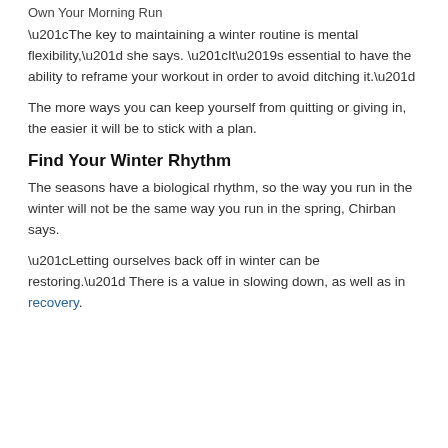Own Your Morning Run
“The key to maintaining a winter routine is mental flexibility,” she says. “It’s essential to have the ability to reframe your workout in order to avoid ditching it.”
The more ways you can keep yourself from quitting or giving in, the easier it will be to stick with a plan.
Find Your Winter Rhythm
The seasons have a biological rhythm, so the way you run in the winter will not be the same way you run in the spring, Chirban says.
“Letting ourselves back off in winter can be restoring.” There is a value in slowing down, as well as in recovery.